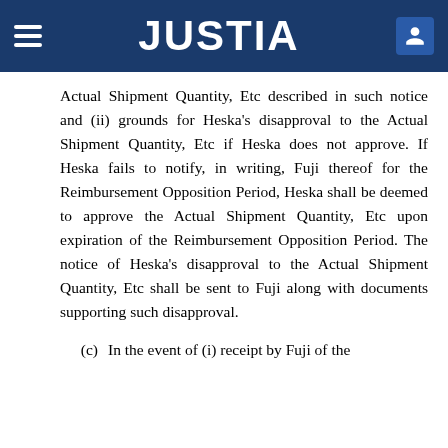JUSTIA
Actual Shipment Quantity, Etc described in such notice and (ii) grounds for Heska’s disapproval to the Actual Shipment Quantity, Etc if Heska does not approve. If Heska fails to notify, in writing, Fuji thereof for the Reimbursement Opposition Period, Heska shall be deemed to approve the Actual Shipment Quantity, Etc upon expiration of the Reimbursement Opposition Period. The notice of Heska’s disapproval to the Actual Shipment Quantity, Etc shall be sent to Fuji along with documents supporting such disapproval.
(c) In the event of (i) receipt by Fuji of the